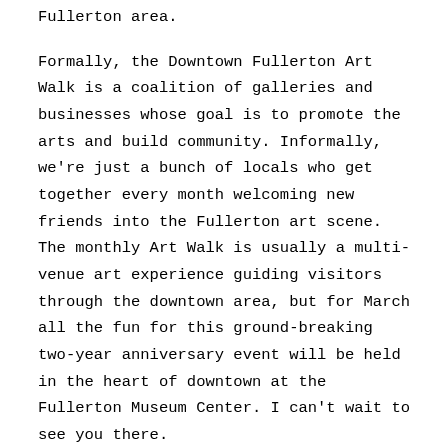Fullerton area.
Formally, the Downtown Fullerton Art Walk is a coalition of galleries and businesses whose goal is to promote the arts and build community. Informally, we're just a bunch of locals who get together every month welcoming new friends into the Fullerton art scene. The monthly Art Walk is usually a multi-venue art experience guiding visitors through the downtown area, but for March all the fun for this ground-breaking two-year anniversary event will be held in the heart of downtown at the Fullerton Museum Center. I can't wait to see you there.